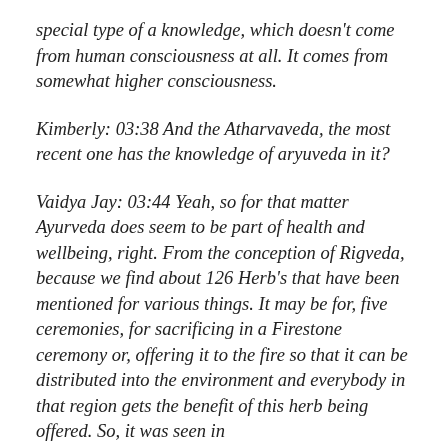special type of a knowledge, which doesn't come from human consciousness at all. It comes from somewhat higher consciousness.
Kimberly: 03:38 And the Atharvaveda, the most recent one has the knowledge of aryuveda in it?
Vaidya Jay: 03:44 Yeah, so for that matter Ayurveda does seem to be part of health and wellbeing, right. From the conception of Rigveda, because we find about 126 Herb's that have been mentioned for various things. It may be for, five ceremonies, for sacrificing in a Firestone ceremony or, offering it to the fire so that it can be distributed into the environment and everybody in that region gets the benefit of this herb being offered. So, it was seen in